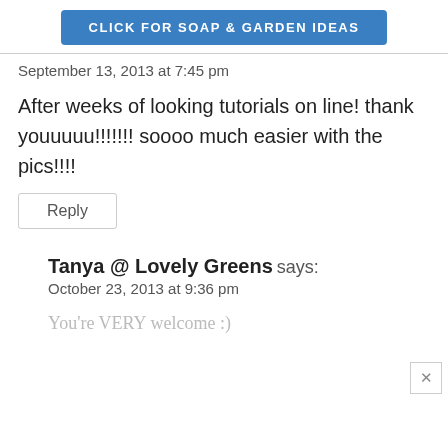[Figure (other): Blue button with text CLICK FOR SOAP & GARDEN IDEAS]
September 13, 2013 at 7:45 pm
After weeks of looking tutorials on line! thank youuuuu!!!!!!! soooo much easier with the pics!!!!
Reply
Tanya @ Lovely Greens says:
October 23, 2013 at 9:36 pm
You're VERY welcome :)